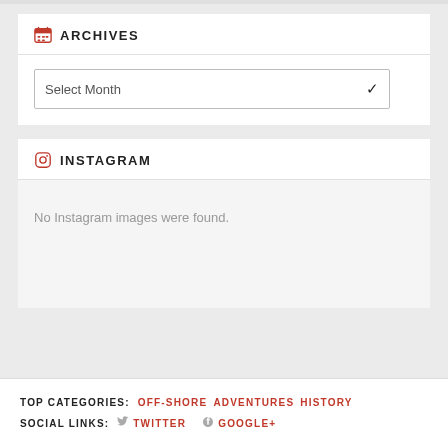ARCHIVES
Select Month
INSTAGRAM
No Instagram images were found.
TOP CATEGORIES: OFF-SHORE ADVENTURES HISTORY
SOCIAL LINKS: TWITTER GOOGLE+